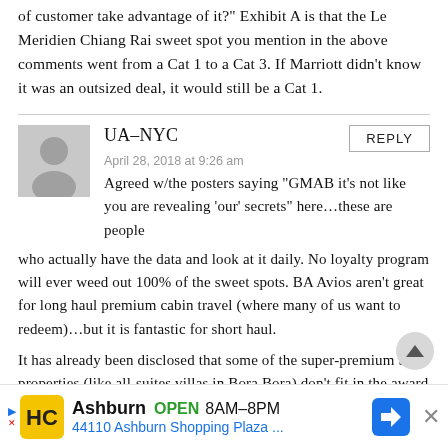of customer take advantage of it?" Exhibit A is that the Le Meridien Chiang Rai sweet spot you mention in the above comments went from a Cat 1 to a Cat 3. If Marriott didn’t know it was an outsized deal, it would still be a Cat 1.
UA-NYC
April 28, 2018 at 9:26 am
Agreed w/the posters saying “GMAB it’s not like you are revealing ‘our’ secrets” here…these are people who actually have the data and look at it daily. No loyalty program will ever weed out 100% of the sweet spots. BA Avios aren't great for long haul premium cabin travel (where many of us want to redeem)…but it is fantastic for short haul.
It has already been disclosed that some of the super-premium SPG properties (like all-suites villas in Bora Bora) don’t fit in the award chart that well, but I had assumed the new cat 8, making them usually peak season, would cover it.
Hore Within ctill in ctill in complex and the entire YYY or t
Ashburn  OPEN  8AM–8PM
44110 Ashburn Shopping Plaza ...